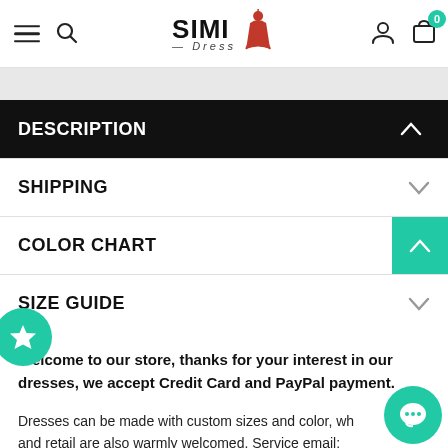SIMI Dress navigation bar with hamburger menu, search icon, logo, account icon, and cart (0)
DESCRIPTION
SHIPPING
COLOR CHART
SIZE GUIDE
Welcome to our store, thanks for your interest in our dresses, we accept Credit Card and PayPal payment.
Dresses can be made with custom sizes and color, wh and retail are also warmly welcomed. Service email: simidress.services@gmail.com